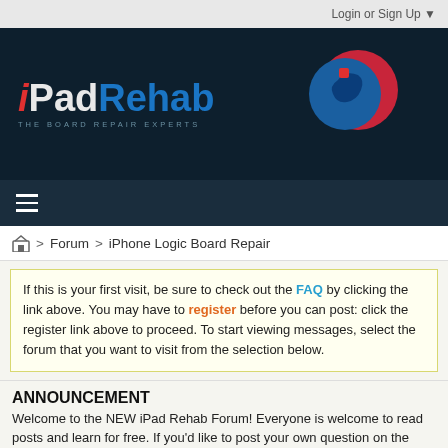Login or Sign Up ▼
[Figure (logo): iPadRehab logo with wrench/hand icon on dark navy background. Text reads 'iPadRehab' with tagline 'THE BOARD REPAIR EXPERTS']
≡
🏠 > Forum > iPhone Logic Board Repair
If this is your first visit, be sure to check out the FAQ by clicking the link above. You may have to register before you can post: click the register link above to proceed. To start viewing messages, select the forum that you want to visit from the selection below.
ANNOUNCEMENT
Welcome to the NEW iPad Rehab Forum! Everyone is welcome to read posts and learn for free. If you'd like to post your own question on the forum, please click "register" above or go here: http://forum.mendonipadrehab.com/register to enroll as a paid ...
SEE MORE
Iphone 6 No Display